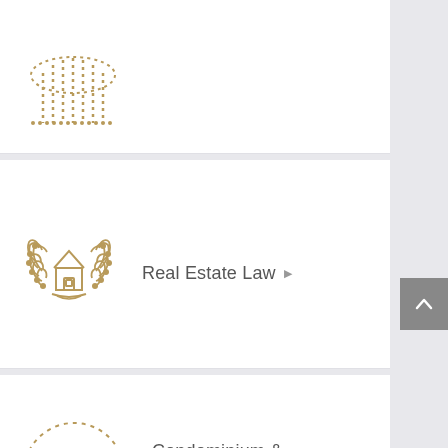[Figure (illustration): Partial view of a decorative icon (columns/building) at top of page, gold dotted design]
Real Estate Law ▶
Condominium & Homeowner Associations ▶